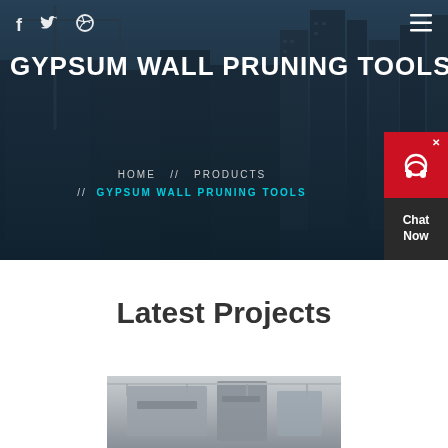[Figure (screenshot): Website hero section showing a dark-overlaid city construction skyline background with social icons, hamburger menu, large bold site title 'GYPSUM WALL PRUNING TOOLS', breadcrumb navigation, and a red/dark chat widget on the right side]
GYPSUM WALL PRUNING TOOLS
HOME  //  PRODUCTS  //  GYPSUM WALL PRUNING TOOLS
Latest Projects
[Figure (photo): Industrial machinery or construction equipment photo at the bottom of the page]